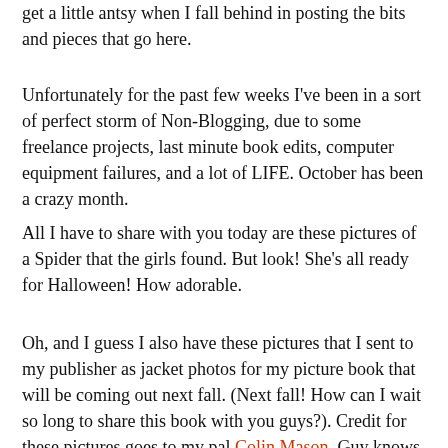get a little antsy when I fall behind in posting the bits and pieces that go here.
Unfortunately for the past few weeks I've been in a sort of perfect storm of Non-Blogging, due to some freelance projects, last minute book edits, computer equipment failures, and a lot of LIFE. October has been a crazy month.
All I have to share with you today are these pictures of a Spider that the girls found. But look! She's all ready for Halloween! How adorable.
Oh, and I guess I also have these pictures that I sent to my publisher as jacket photos for my picture book that will be coming out next fall. (Next fall! How can I wait so long to share this book with you guys?). Credit for these pictures goes to my pal Colin Mason. Guy knows what's what with a camera: